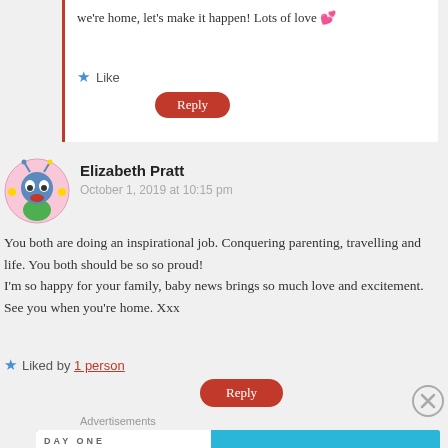we're home, let's make it happen! Lots of love 💕
Like
Reply
Elizabeth Pratt
October 1, 2019 at 10:15 pm
You both are doing an inspirational job. Conquering parenting, travelling and life. You both should be so so proud!
I'm so happy for your family, baby news brings so much love and excitement. See you when you're home. Xxx
Liked by 1 person
Reply
Advertisements
[Figure (illustration): Day One journaling app advertisement banner with blue background and text 'The only journaling app you'll ever need.']